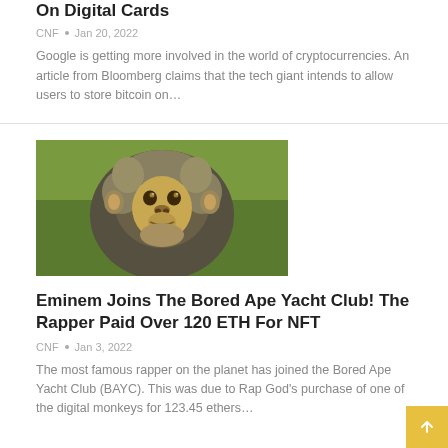On Digital Cards
CNF • Jan 20, 2022
Google is getting more involved in the world of cryptocurrencies. An article from Bloomberg claims that the tech giant intends to allow users to store bitcoin on...
[Figure (photo): Close-up photo of a monkey (Bored Ape Yacht Club NFT reference) with gray-brown fur and golden face against a green background]
Eminem Joins The Bored Ape Yacht Club! The Rapper Paid Over 120 ETH For NFT
CNF • Jan 3, 2022
The most famous rapper on the planet has joined the Bored Ape Yacht Club (BAYC). This was due to Rap God's purchase of one of the digital monkeys for 123.45 ethers...